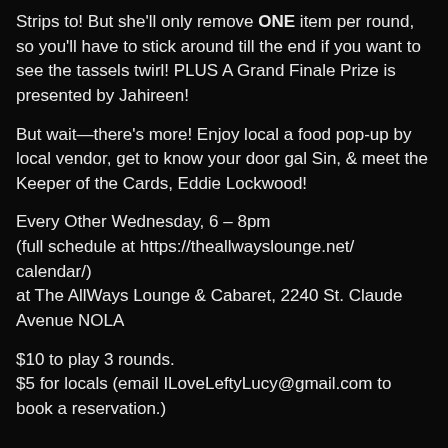Strips to! But she'll only remove ONE item per round, so you'll have to stick around till the end if you want to see the tassels twirl! PLUS A Grand Finale Prize is presented by Jahireen!
But wait—there's more! Enjoy local a food pop-up by local vendor, get to know your door gal Sin, & meet the Keeper of the Cards, Eddie Lockwood!
Every Other Wednesday, 6 – 8pm
(full schedule at https://theallwayslounge.net/calendar/)
at The AllWays Lounge & Cabaret, 2240 St. Claude Avenue NOLA
$10 to play 3 rounds.
$5 for locals (email ILoveLeftyLucy@gmail.com to book a reservation.)